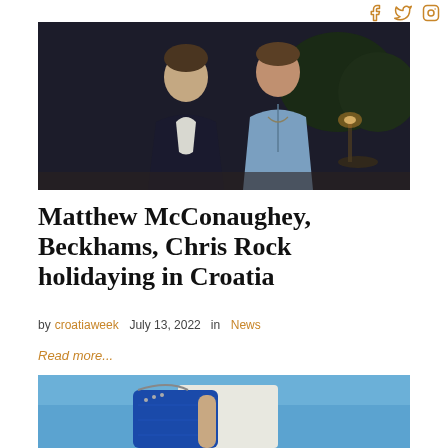Social media icons: Facebook, Twitter, Instagram
[Figure (photo): Two men standing together at night outdoors. Left man wearing dark blazer over white shirt, right man wearing light blue chambray shirt. Dark background with outdoor lighting visible.]
Matthew McConaughey, Beckhams, Chris Rock holidaying in Croatia
by croatiaweek  July 13, 2022  in  News
Read more...
[Figure (photo): Person holding a large blue handbag, wearing white outfit, against blue sky background.]